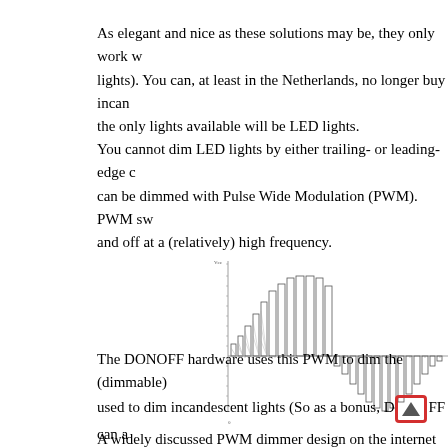As elegant and nice as these solutions may be, they only work with incandescent lights). You can, at least in the Netherlands, no longer buy incandescent lights, the only lights available will be LED lights.
You cannot dim LED lights by either trailing- or leading-edge can be dimmed with Pulse Wide Modulation (PWM). PWM switches the light on and off at a (relatively) high frequency.
[Figure (continuous-plot): A PWM waveform diagram showing a bell-shaped envelope of rectangular pulses. The pulses rise in height toward the center and decrease toward the right, illustrating a PWM signal with varying duty cycle or amplitude. There is a horizontal axis and a vertical axis with tick marks.]
The DONOFF hardware uses this PWM to dim the (dimmable) used to dim incandescent lights (So as a bonus, DONOFF can a
A widely discussed PWM dimmer design on the internet is base